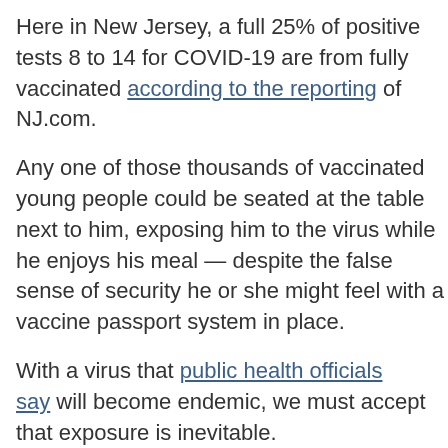Here in New Jersey, a full 25% of positive tests 8 to 14 for COVID-19 are from fully vaccinated people, according to the reporting of NJ.com.
Any one of those thousands of vaccinated young people could be seated at the table next to him, exposing him to the virus while he enjoys his meal — despite the false sense of security he or she might feel with a vaccine passport system in place.
With a virus that public health officials say will become endemic, we must accept that exposure is inevitable.
For those with concerns, solutions already exist that do not include ineffective mandates imposed on all of us by executive order.
First, vaccinations are widely available to everyone 12 and up. According to the CDC, those who are...